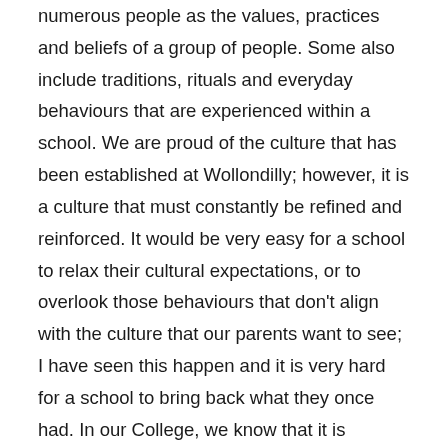numerous people as the values, practices and beliefs of a group of people. Some also include traditions, rituals and everyday behaviours that are experienced within a school. We are proud of the culture that has been established at Wollondilly; however, it is a culture that must constantly be refined and reinforced. It would be very easy for a school to relax their cultural expectations, or to overlook those behaviours that don't align with the culture that our parents want to see; I have seen this happen and it is very hard for a school to bring back what they once had. In our College, we know that it is important for us to continue to remind students of expectations, to maintain those boundaries of behaviour and values that we expect and to reinforce with students and parents that by choosing not to adhere to these expectations, a student is choosing not to be a part of our College. Our goal is to help every